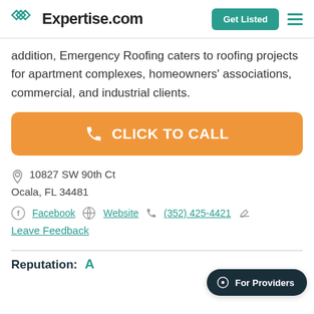Expertise.com — Get Listed
addition, Emergency Roofing caters to roofing projects for apartment complexes, homeowners' associations, commercial, and industrial clients.
[Figure (other): Orange 'CLICK TO CALL' call-to-action button with phone icon]
10827 SW 90th Ct
Ocala, FL 34481
Facebook  Website  (352) 425-4421
Leave Feedback
Reputation: A